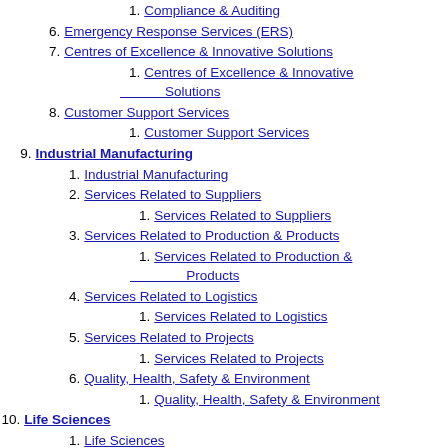1. Compliance & Auditing
6. Emergency Response Services (ERS)
7. Centres of Excellence & Innovative Solutions
1. Centres of Excellence & Innovative Solutions
8. Customer Support Services
1. Customer Support Services
9. Industrial Manufacturing
1. Industrial Manufacturing
2. Services Related to Suppliers
1. Services Related to Suppliers
3. Services Related to Production & Products
1. Services Related to Production & Products
4. Services Related to Logistics
1. Services Related to Logistics
5. Services Related to Projects
1. Services Related to Projects
6. Quality, Health, Safety & Environment
1. Quality, Health, Safety & Environment
10. Life Sciences
1. Life Sciences
2. Clinical Research Services
1. Clinical Research Services
3. Contract Laboratory Services